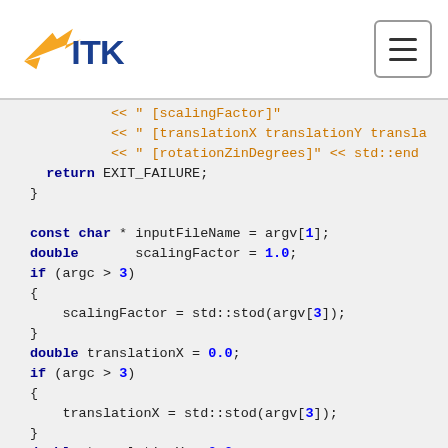ITK logo and navigation
[Figure (screenshot): C++ source code snippet showing variable declarations and conditional blocks for inputFileName, scalingFactor, translationX, translationY, translationZ with argv parsing]